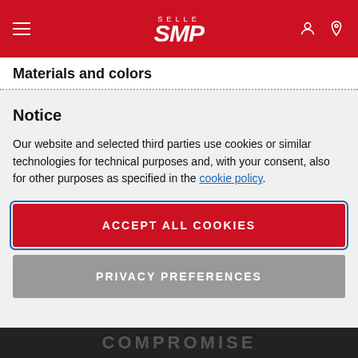Selle SMP
Materials and colors
Notice
Our website and selected third parties use cookies or similar technologies for technical purposes and, with your consent, also for other purposes as specified in the cookie policy.
ACCEPT ALL COOKIES
PRIVACY PREFERENCES
COMPROMISE